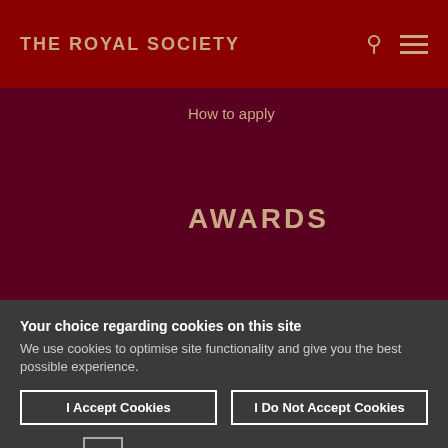THE ROYAL SOCIETY
How to apply
AWARDS
Your choice regarding cookies on this site
We use cookies to optimise site functionality and give you the best possible experience.
I Accept Cookies
I Do Not Accept Cookies
Settings